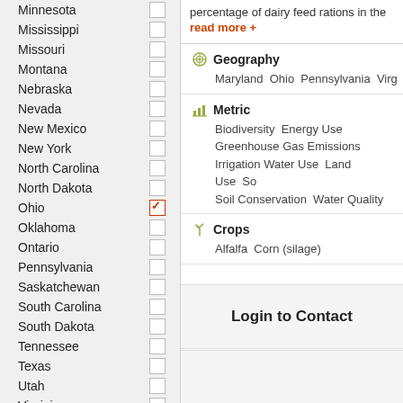Minnesota  ☐
Mississippi  ☐
Missouri  ☐
Montana  ☐
Nebraska  ☐
Nevada  ☐
New Mexico  ☐
New York  ☐
North Carolina  ☐
North Dakota  ☐
Ohio  ☑
Oklahoma  ☐
Ontario  ☐
Pennsylvania  ☐
Saskatchewan  ☐
South Carolina  ☐
South Dakota  ☐
Tennessee  ☐
Texas  ☐
Utah  ☐
Virginia  ☐
percentage of dairy feed rations in the
read more +
Geography
Maryland  Ohio  Pennsylvania  Virg
Metric
Biodiversity  Energy Use  Greenhouse Gas Emissions  Irrigation Water Use  Land Use  So  Soil Conservation  Water Quality
Crops
Alfalfa  Corn (silage)
Login to Contact